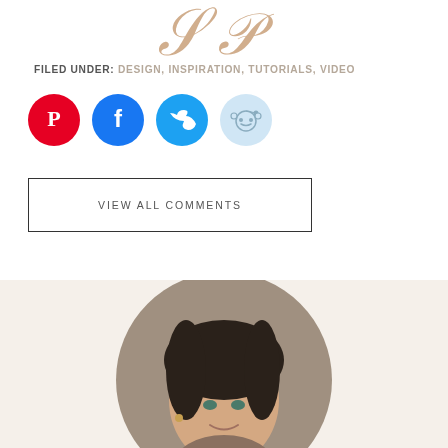[Figure (logo): Decorative script/calligraphy logo in rose-gold/copper color, partially visible at top]
FILED UNDER: DESIGN, INSPIRATION, TUTORIALS, VIDEO
[Figure (infographic): Four social media share buttons: Pinterest (red), Facebook (dark blue), Twitter (light blue), Reddit (light blue)]
VIEW ALL COMMENTS
[Figure (photo): Author headshot photo — woman with dark hair pulled back, smiling, wearing earrings, circular crop on beige background]